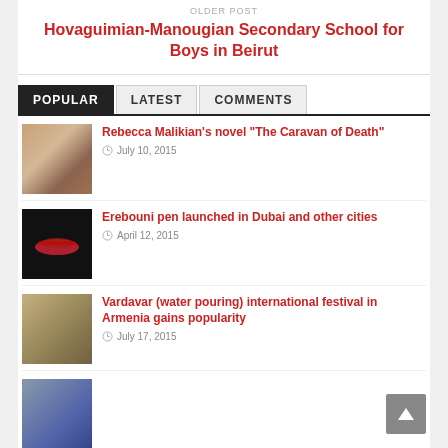OLDER POST
Hovaguimian-Manougian Secondary School for Boys in Beirut
POPULAR  LATEST  COMMENTS
Rebecca Malikian’s novel “The Caravan of Death”
July 10, 2015
Erebouni pen launched in Dubai and other cities
April 12, 2015
Vardavar (water pouring) international festival in Armenia gains popularity
July 17, 2015